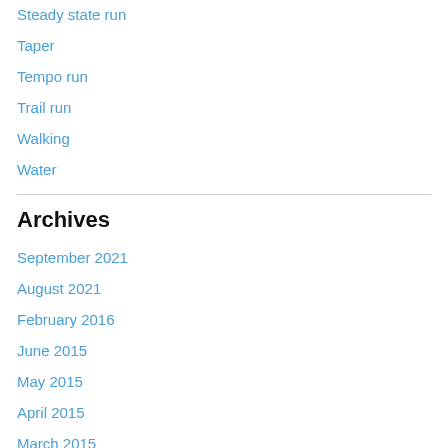Steady state run
Taper
Tempo run
Trail run
Walking
Water
Archives
September 2021
August 2021
February 2016
June 2015
May 2015
April 2015
March 2015
February 2015
January 2015
December 2014